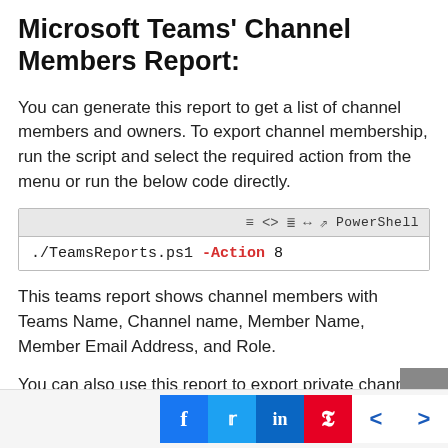Microsoft Teams' Channel Members Report:
You can generate this report to get a list of channel members and owners. To export channel membership, run the script and select the required action from the menu or run the below code directly.
./TeamsReports.ps1 -Action 8
This teams report shows channel members with Teams Name, Channel name, Member Name, Member Email Address, and Role.
You can also use this report to export private channel members and owners. Else, you can use dedicated PowerShell script for managing and reporting